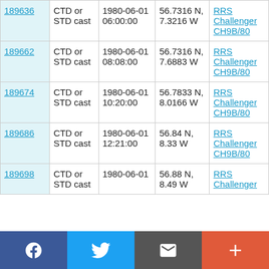| 189636 | CTD or STD cast | 1980-06-01 06:00:00 | 56.7316 N, 7.3216 W | RRS Challenger CH9B/80 |
| 189662 | CTD or STD cast | 1980-06-01 08:08:00 | 56.7316 N, 7.6883 W | RRS Challenger CH9B/80 |
| 189674 | CTD or STD cast | 1980-06-01 10:20:00 | 56.7833 N, 8.0166 W | RRS Challenger CH9B/80 |
| 189686 | CTD or STD cast | 1980-06-01 12:21:00 | 56.84 N, 8.33 W | RRS Challenger CH9B/80 |
| 189698 | CTD or STD cast | 1980-06-01 | 56.88 N, 8.49 W | RRS Challenger |